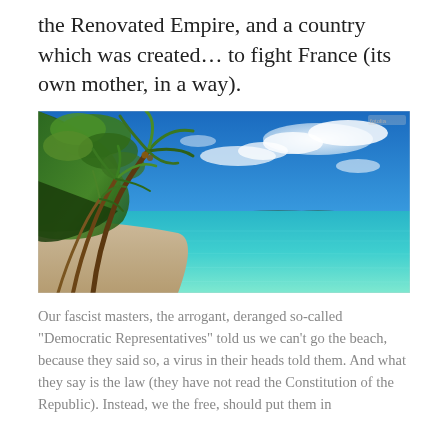the Renovated Empire, and a country which was created… to fight France (its own mother, in a way).
[Figure (photo): Tropical beach scene with palm trees leaning over clear turquoise water, white sandy beach, and a bright blue sky with white clouds. Islands visible in the distance.]
Our fascist masters, the arrogant, deranged so-called "Democratic Representatives" told us we can't go the beach, because they said so, a virus in their heads told them. And what they say is the law (they have not read the Constitution of the Republic). Instead, we the free, should put them in